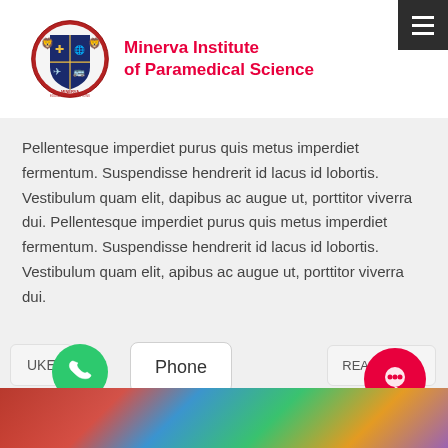[Figure (logo): Minerva Institute of Paramedical Science shield logo with lions and medical symbols]
Minerva Institute of Paramedical Science
Pellentesque imperdiet purus quis metus imperdiet fermentum. Suspendisse hendrerit id lacus id lobortis. Vestibulum quam elit, dapibus ac augue ut, porttitor viverra dui. Pellentesque imperdiet purus quis metus imperdiet fermentum. Suspendisse hendrerit id lacus id lobortis. Vestibulum quam elit, apibus ac augue ut, porttitor viverra dui.
LIKE
Phone
READ MORE